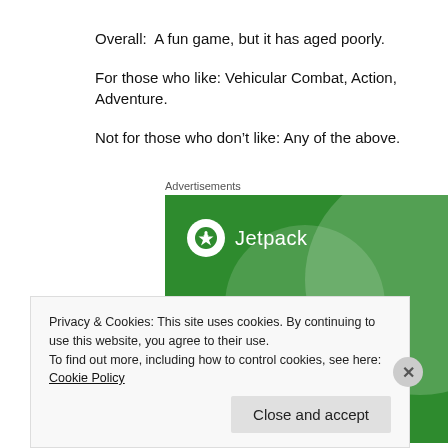Overall:  A fun game, but it has aged poorly.
For those who like: Vehicular Combat, Action, Adventure.
Not for those who don't like: Any of the above.
Advertisements
[Figure (illustration): Jetpack advertisement banner on green background. Shows Jetpack logo (lightning bolt in white circle) with text 'The best real-time WordPress backup plugin']
Privacy & Cookies: This site uses cookies. By continuing to use this website, you agree to their use.
To find out more, including how to control cookies, see here: Cookie Policy
Close and accept